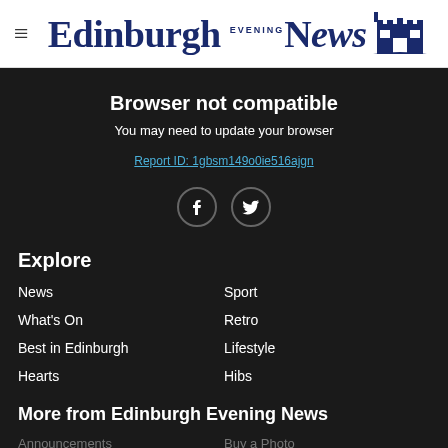Edinburgh Evening News
Browser not compatible
You may need to update your browser
Report ID: 1gbsm149o0ie516ajgn
Explore
News
Sport
What's On
Retro
Best in Edinburgh
Lifestyle
Hearts
Hibs
More from Edinburgh Evening News
Announcements
Buy a Photo
Conferences
Jobs